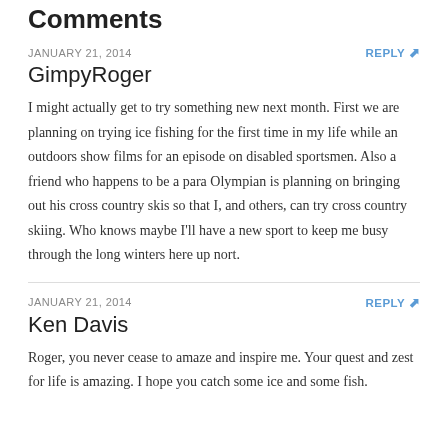Comments
JANUARY 21, 2014
REPLY
GimpyRoger
I might actually get to try something new next month. First we are planning on trying ice fishing for the first time in my life while an outdoors show films for an episode on disabled sportsmen. Also a friend who happens to be a para Olympian is planning on bringing out his cross country skis so that I, and others, can try cross country skiing. Who knows maybe I'll have a new sport to keep me busy through the long winters here up nort.
JANUARY 21, 2014
REPLY
Ken Davis
Roger, you never cease to amaze and inspire me. Your quest and zest for life is amazing. I hope you catch some ice and some fish.